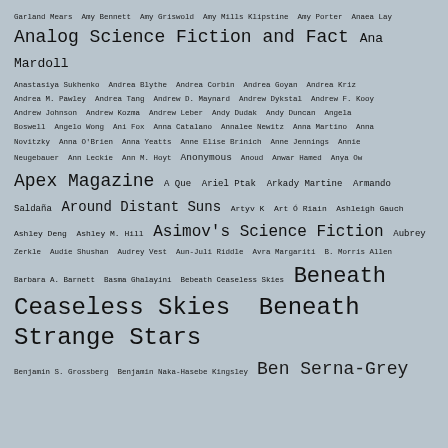Garland Mears  Amy Bennett  Amy Griswold  Amy Mills Klipstine  Amy Porter  Anaea Lay
Analog Science Fiction and Fact  Ana Mardoll
Anastasiya Sukhenko  Andrea Blythe  Andrea Corbin  Andrea Goyan  Andrea Kriz
Andrea M. Pawley  Andrea Tang  Andrew D. Maynard  Andrew Dykstal  Andrew F. Kooy
Andrew Johnson  Andrew Kozma  Andrew Leber  Andy Dudak  Andy Duncan  Angela
Boswell  Angelo Wong  Ani Fox  Anna Catalano  Annalee Newitz  Anna Martino  Anna
Novitzky  Anna O'Brien  Anna Yeatts  Anne Elise Brinich  Anne Jennings  Annie
Neugebauer  Ann Leckie  Ann M. Hoyt  Anonymous  Anoud  Anwar Hamed  Anya Ow
Apex Magazine  A Que  Ariel Ptak  Arkady Martine  Armando
Saldaña  Around Distant Suns  Artyv K  Art Ó Riain  Ashleigh Gauch
Ashley Deng  Ashley M. Hill  Asimov's Science Fiction  Aubrey
Zerkle  Audie Shushan  Audrey Vest  Aun-Juli Riddle  Avra Margariti  B. Morris Allen
Barbara A. Barnett  Basma Ghalayini  Bebeath Ceaseless Skies  Beneath
Ceaseless Skies  Beneath Strange Stars
Benjamin S. Grossberg  Benjamin Naka-Hasebe Kingsley  Ben Serna-Grey